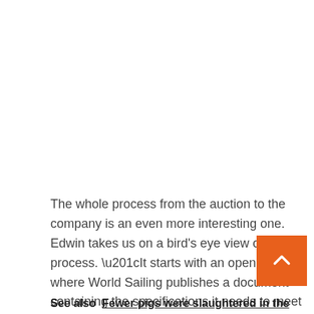The whole process from the auction to the company is an even more interesting one. Edwin takes us on a bird's eye view of this process. “It starts with an open call, where World Sailing publishes a document containing the specifications it needs to meet at a World Cup.
[Figure (other): Orange square back-to-top button with white upward chevron arrow]
See also  Fewer pigs were slaughtered in the